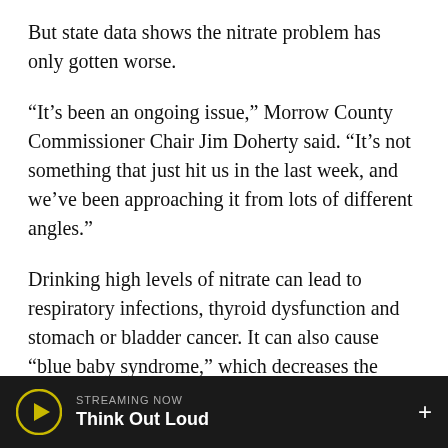But state data shows the nitrate problem has only gotten worse.
“It’s been an ongoing issue,” Morrow County Commissioner Chair Jim Doherty said. “It’s not something that just hit us in the last week, and we’ve been approaching it from lots of different angles.”
Drinking high levels of nitrate can lead to respiratory infections, thyroid dysfunction and stomach or bladder cancer. It can also cause “blue baby syndrome,” which decreases the blood’s capacity to carry oxygen, especially in infants drinking baby formula mixed with contaminated water. According to the Environmental Protection
STREAMING NOW
Think Out Loud